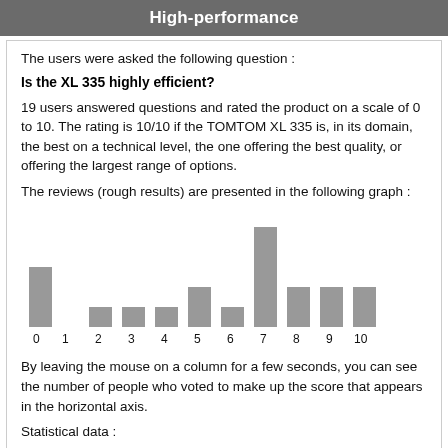High-performance
The users were asked the following question :
Is the XL 335 highly efficient?
19 users answered questions and rated the product on a scale of 0 to 10. The rating is 10/10 if the TOMTOM XL 335 is, in its domain, the best on a technical level, the one offering the best quality, or offering the largest range of options.
The reviews (rough results) are presented in the following graph :
[Figure (histogram): ]
By leaving the mouse on a column for a few seconds, you can see the number of people who voted to make up the score that appears in the horizontal axis.
Statistical data :